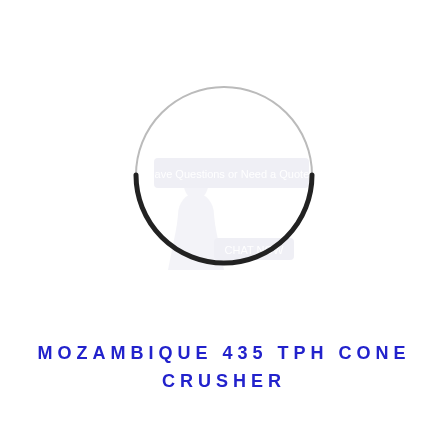[Figure (illustration): A thin circular ring (o-ring or seal), drawn as a circle outline. The top arc is a thin gray line and the bottom arc is a thicker black line, suggesting a 3D perspective of a ring. Behind/below the ring is a faint watermark with a person figure and overlaid text reading 'Have Questions or Need a Quote?' and 'CHAT NOW'.]
MOZAMBIQUE 435 TPH CONE CRUSHER